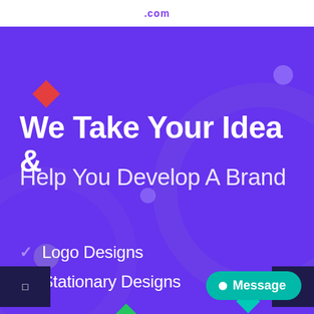.com
We Take Your Idea &
Help You Develop A Brand
Logo Designs
Stationary Designs
Message